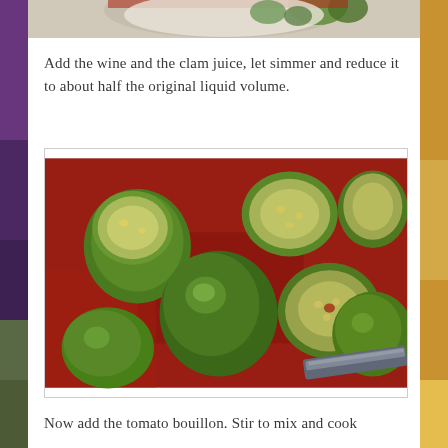[Figure (photo): Top partial photo showing food items in a bowl with red and green vegetables]
Add the wine and the clam juice, let simmer and reduce it to about half the original liquid volume.
[Figure (photo): Photo of green tomatillos cut in half on a red cutting board with a knife]
Now add the tomato bouillon. Stir to mix and cook